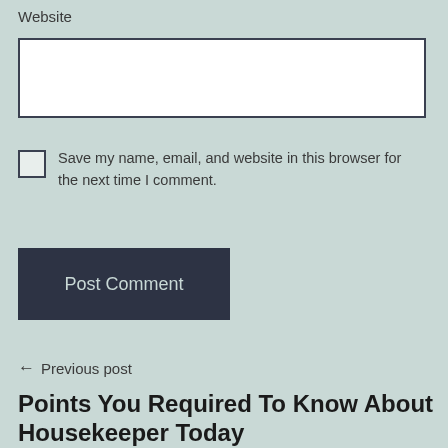Website
Save my name, email, and website in this browser for the next time I comment.
Post Comment
← Previous post
Points You Required To Know About Housekeeper Today